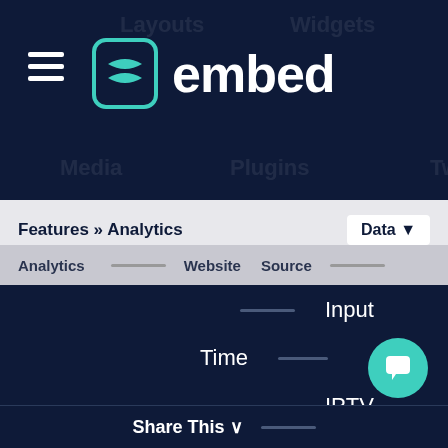[Figure (logo): Embed logo with hamburger menu icon and teal/green stylized page icon, white text 'embed' on dark navy background]
Features » Analytics
Data ▼
Analytics   Website   Source
Input
Time
IPTV
RSS/Text
Scroller
Travel
Boards
Date
Salesforce
Chatter
Share This ∨